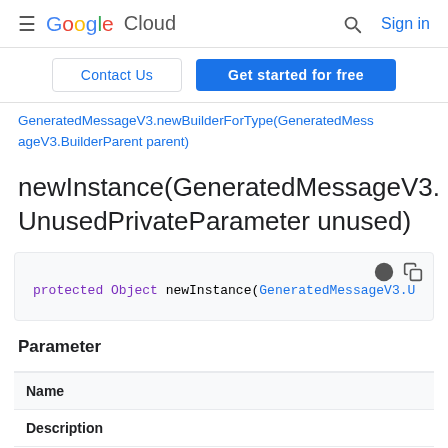Google Cloud — Sign in
Contact Us | Get started for free
GeneratedMessageV3.newBuilderForType(GeneratedMessageV3.BuilderParent parent)
newInstance(GeneratedMessageV3.UnusedPrivateParameter unused)
protected Object newInstance(GeneratedMessageV3.U
Parameter
| Name |
| --- |
| Description |